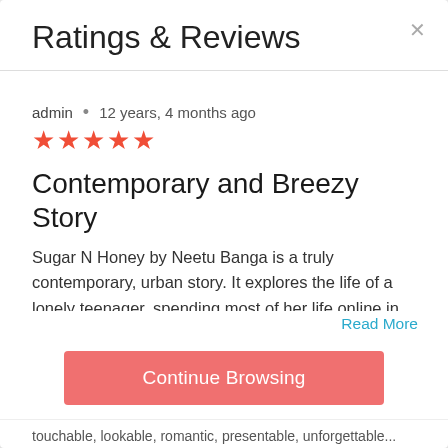Ratings & Reviews
admin  •  12 years, 4 months ago
★★★★★
Contemporary and Breezy Story
Sugar N Honey by Neetu Banga is a truly contemporary, urban story. It explores the life of a lonely teenager, spending most of her life online in search of some...
Read More
Continue Browsing
touchable, lookable, romantic, presentable, unforgettable...